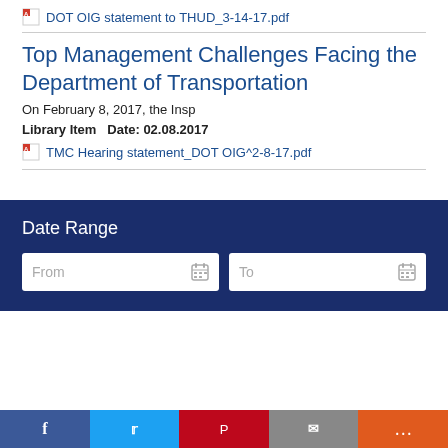DOT OIG statement to THUD_3-14-17.pdf
Top Management Challenges Facing the Department of Transportation
On February 8, 2017, the Insp
Library Item   Date: 02.08.2017
TMC Hearing statement_DOT OIG^2-8-17.pdf
Date Range
From
To
Social share bar: Facebook, Twitter, Pinterest, Email, More